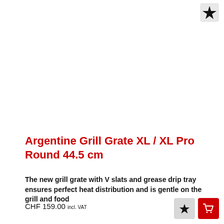[Figure (other): Pin/bookmark icon button in top right corner]
Argentine Grill Grate XL / XL Pro Round 44.5 cm
The new grill grate with V slats and grease drip tray ensures perfect heat distribution and is gentle on the grill and food
CHF 159.00 incl. VAT
[Figure (other): Pin icon button and shopping cart icon button in bottom right corner]